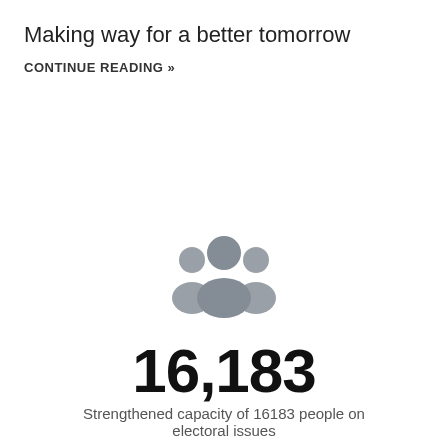Making way for a better tomorrow
CONTINUE READING »
[Figure (illustration): Gray icon of a group of people (community/audience icon) — three overlapping silhouettes with circular heads]
16,183
Strengthened capacity of 16183 people on electoral issues